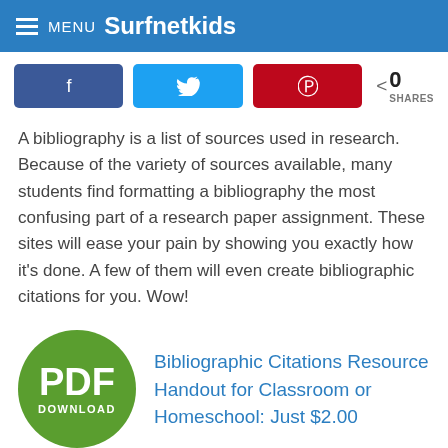MENU Surfnetkids
[Figure (infographic): Social sharing buttons row: Facebook (blue), Twitter (light blue), Pinterest (red), and a share count showing 0 SHARES]
A bibliography is a list of sources used in research. Because of the variety of sources available, many students find formatting a bibliography the most confusing part of a research paper assignment. These sites will ease your pain by showing you exactly how it's done. A few of them will even create bibliographic citations for you. Wow!
[Figure (infographic): Green circular PDF DOWNLOAD badge next to a blue link text reading: Bibliographic Citations Resource Handout for Classroom or Homeschool: Just $2.00]